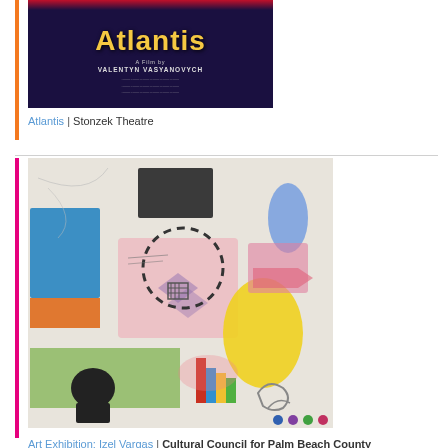[Figure (photo): Movie poster for 'Atlantis', a film by Valentyn Vasyanovych. Dark navy/purple background with large yellow text 'Atlantis', subtitle 'A Film by VALENTYN VASYANOVYCH', and additional credits text below.]
Atlantis | Stonzek Theatre
[Figure (photo): Colorful mixed-media art exhibition piece by Izel Vargas featuring abstract collage elements including blue rectangles, yellow figure, black and white stencil figures, pink and green paint areas, geometric shapes, and various other mixed media elements on a white background.]
Art Exhibition: Izel Vargas | Cultural Council for Palm Beach County